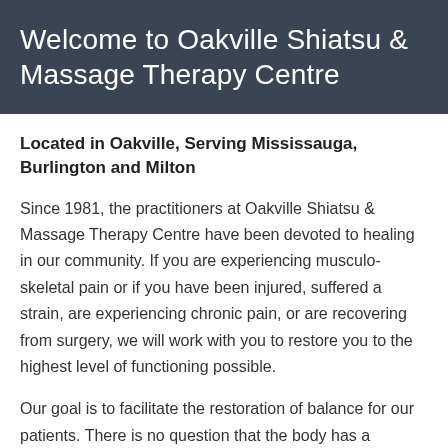Welcome to Oakville Shiatsu & Massage Therapy Centre
Located in Oakville, Serving Mississauga, Burlington and Milton
Since 1981, the practitioners at Oakville Shiatsu & Massage Therapy Centre have been devoted to healing in our community. If you are experiencing musculo-skeletal pain or if you have been injured, suffered a strain, are experiencing chronic pain, or are recovering from surgery, we will work with you to restore you to the highest level of functioning possible.
Our goal is to facilitate the restoration of balance for our patients. There is no question that the body has a